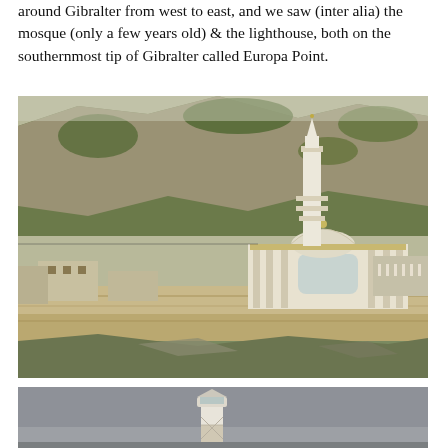around Gibralter from west to east, and we saw (inter alia) the mosque (only a few years old) & the lighthouse, both on the southernmost tip of Gibralter called Europa Point.
[Figure (photo): Photograph of the mosque at Europa Point, Gibraltar, with a tall white minaret, white domed building, stone walls in the foreground, and rocky cliffs and greenery in the background.]
[Figure (photo): Photograph of the Europa Point lighthouse, a white structure with a lantern top, seen against a grey overcast sky, partially cropped at the bottom of the page.]